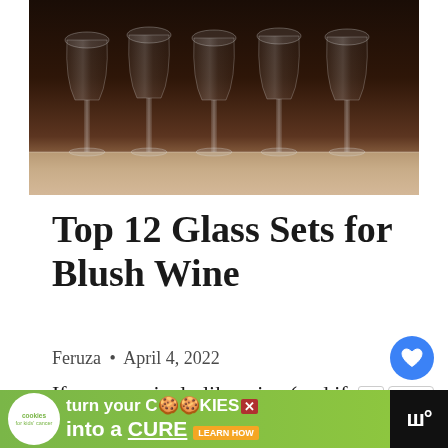[Figure (photo): Multiple empty wine glasses lined up on a dark wooden surface, shot from below with a dark background]
Top 12 Glass Sets for Blush Wine
Feruza • April 4, 2022
If you genuinely like wine (and if you're reading this, the odds are you probably do), you're probably the person who cringes when
[Figure (infographic): Green advertisement banner: cookies for kids cancer - turn your COOKIES into a CURE LEARN HOW]